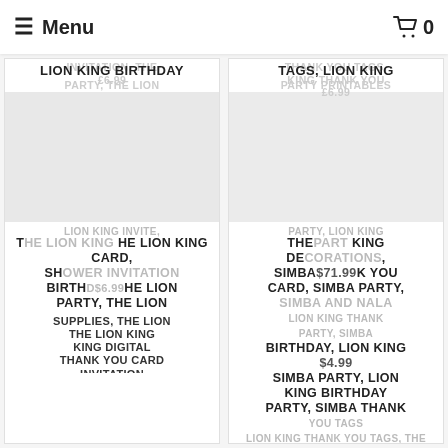Menu | Cart 0
[Figure (screenshot): E-commerce product grid showing Lion King party supply items with overlapping text product titles and prices]
LION KING BIRTHDAY PARTY, THE LION
TAGS, LION KING PARTY PRINTABLES
THE LION KING CARD, SHOWER INVITATION BIRTHDAY $6.99 HE LION PARTY, THE LION
THE LION KING DECORATIONS, SIMBA $71.99 K YOU CARD, SIMBA PARTY, SIMBA AND NALA BIRTHDAY, LION KING SIMBA PARTY, LION KING BIRTHDAY PARTY, SIMBA THANK YOU TAGS, THE LION
SUPPLIES, THE LION KING DIGITAL THANK YOU CARD INVITATION
LION KING THANK YOU TAGS BIRTHDAY, LION KING SIMBA PARTY, LION KING BIRTHDAY PARTY, SIMBA THANK YOU TAGS, THE LION